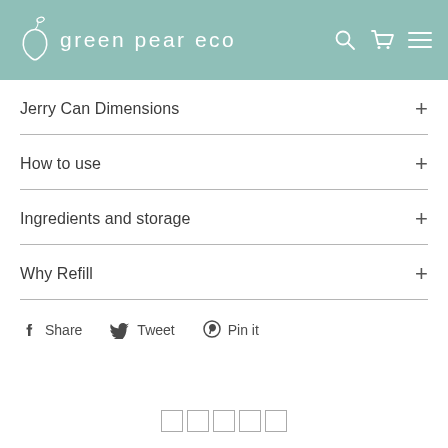GREEN PEAR ECO
Jerry Can Dimensions +
How to use +
Ingredients and storage +
Why Refill +
Share  Tweet  Pin it